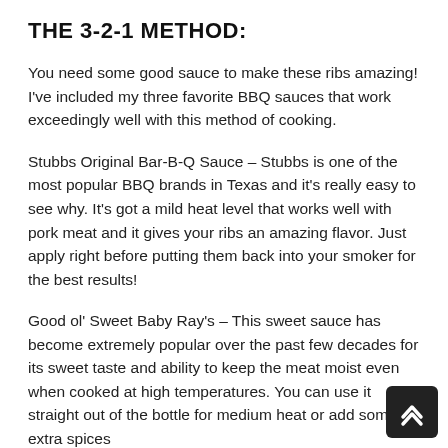THE 3-2-1 METHOD:
You need some good sauce to make these ribs amazing! I've included my three favorite BBQ sauces that work exceedingly well with this method of cooking.
Stubbs Original Bar-B-Q Sauce – Stubbs is one of the most popular BBQ brands in Texas and it's really easy to see why. It's got a mild heat level that works well with pork meat and it gives your ribs an amazing flavor. Just apply right before putting them back into your smoker for the best results!
Good ol' Sweet Baby Ray's – This sweet sauce has become extremely popular over the past few decades for its sweet taste and ability to keep the meat moist even when cooked at high temperatures. You can use it straight out of the bottle for medium heat or add some extra spices